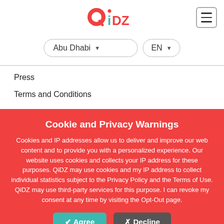[Figure (logo): QiDZ logo with red Q and teal iDZ text with dot accent]
[Figure (other): Hamburger menu icon in rounded rectangle border]
Abu Dhabi ▼
EN ▼
Press
Terms and Conditions
Cookie and Privacy Warnings
Cookies and IP addresses allow us to deliver and improve our web content and to provide you with a personalized experience. Our website uses cookies and collects your IP address for these purposes. QiDZ may use cookies and my IP address to collect individual statistics subject to the Privacy Policy and the Terms of Use. QiDZ may use third-party services for this purpose. I can revoke my consent at any time by visiting the Opt-Out page.
✔ Agree
✗ Decline